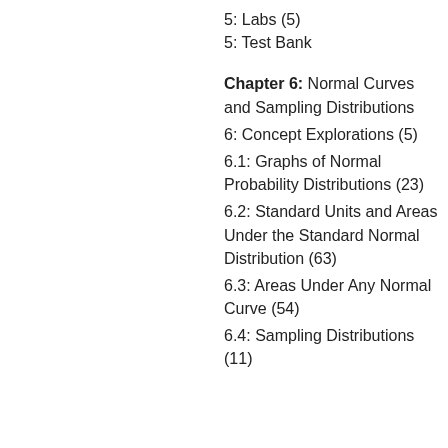5: Labs (5)
5: Test Bank
Chapter 6: Normal Curves and Sampling Distributions
6: Concept Explorations (5)
6.1: Graphs of Normal Probability Distributions (23)
6.2: Standard Units and Areas Under the Standard Normal Distribution (63)
6.3: Areas Under Any Normal Curve (54)
6.4: Sampling Distributions (11)